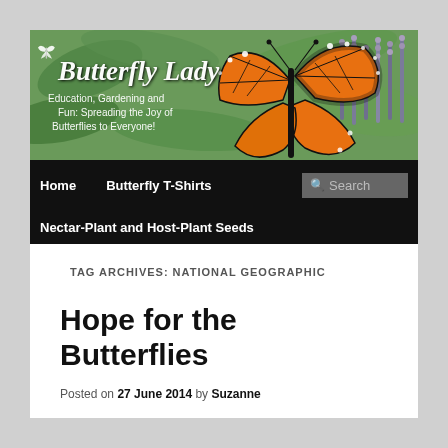[Figure (photo): Butterfly Lady blog header banner with a monarch butterfly on purple flowers and green leaves. White text reads 'Butterfly Lady' in italic script, with subtitle 'Education, Gardening and Fun: Spreading the Joy of Butterflies to Everyone!']
Home   Butterfly T-Shirts   Search   Nectar-Plant and Host-Plant Seeds
TAG ARCHIVES: NATIONAL GEOGRAPHIC
Hope for the Butterflies
Posted on 27 June 2014 by Suzanne